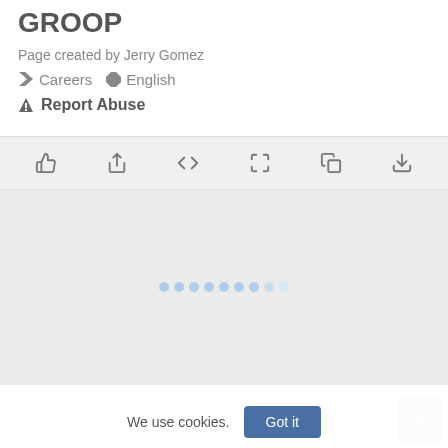GROOP
Page created by Jerry Gomez
Careers   English
⚠ Report Abuse
[Figure (screenshot): Toolbar with icons: thumbs up, share, code embed, fullscreen, copy, download]
[Figure (screenshot): Embedded content area with loading dots indicator]
We use cookies.  Got it